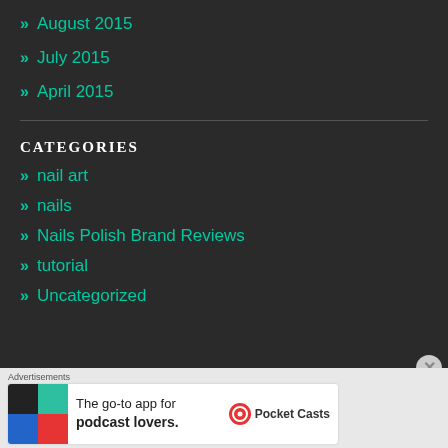» August 2015
» July 2015
» April 2015
CATEGORIES
» nail art
» nails
» Nails Polish Brand Reviews
» tutorial
» Uncategorized
Advertisements
[Figure (other): Pocket Casts advertisement banner: The go-to app for podcast lovers.]